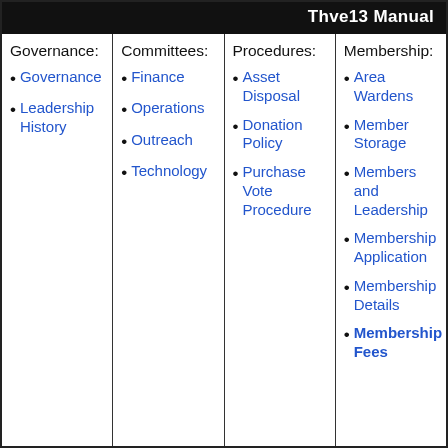Thve13 Manual
| Governance: | Committees: | Procedures: | Membership: |
| --- | --- | --- | --- |
| Governance | Finance | Asset Disposal | Area Wardens |
| Leadership History | Operations | Donation Policy | Member Storage |
|  | Outreach | Purchase Vote Procedure | Members and Leadership |
|  | Technology |  | Membership Application |
|  |  |  | Membership Details |
|  |  |  | Membership Fees |